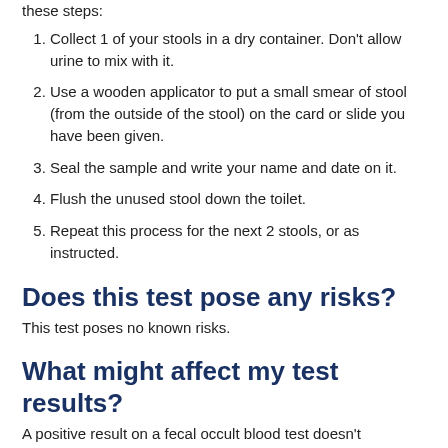these steps:
Collect 1 of your stools in a dry container. Don't allow urine to mix with it.
Use a wooden applicator to put a small smear of stool (from the outside of the stool) on the card or slide you have been given.
Seal the sample and write your name and date on it.
Flush the unused stool down the toilet.
Repeat this process for the next 2 stools, or as instructed.
Does this test pose any risks?
This test poses no known risks.
What might affect my test results?
A positive result on a fecal occult blood test doesn't